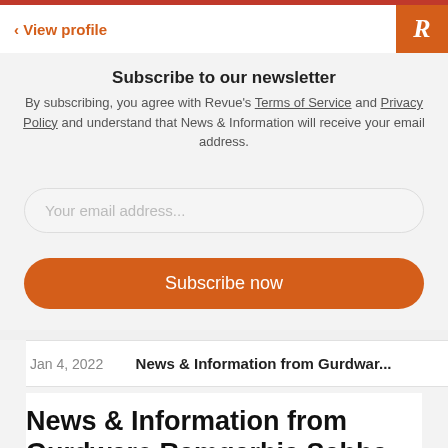< View profile
Subscribe to our newsletter
By subscribing, you agree with Revue's Terms of Service and Privacy Policy and understand that News & Information will receive your email address.
Your email address...
Subscribe now
| Date | Title |
| --- | --- |
| Jan 4, 2022 | News & Information from Gurdwar... |
News & Information from Gurdware Ramgarhia Sabha